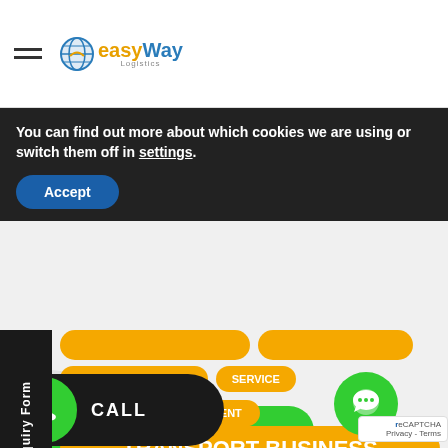[Figure (logo): EasyWay Logistics logo with globe icon, orange 'easy' and blue 'Way' text, 'Logistics' subtitle]
You can find out more about which cookies we are using or switch them off in settings.
Accept
Quick Inquiry Form
SEA FREIGHT QUOTE
SERVICE
SUPPLY CHAIN MANAGEMENT
TRANSPORT BUSINESS
WAREHOUSES
WAREHOUSING
CALL
How can I help you?